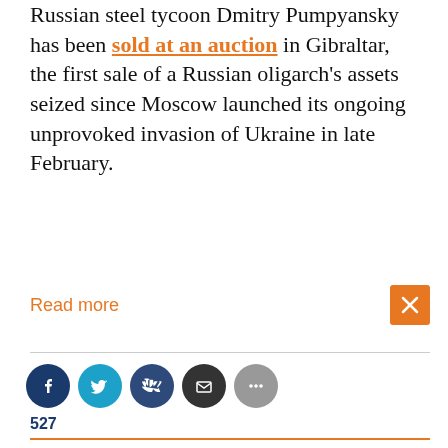Russian steel tycoon Dmitry Pumpyansky has been sold at an auction in Gibraltar, the first sale of a Russian oligarch's assets seized since Moscow launched its ongoing unprovoked invasion of Ukraine in late February.
Read more
[Figure (other): Orange close/dismiss button (X icon) in top right of article snippet]
[Figure (other): Social sharing icons row: Facebook (dark blue), Twitter (light blue), VK (dark blue), Email (dark gray), More (gray). Share count: 527]
527
August 24, 2022
By RFE/RL
Biden Pledges Nearly $3 Billion